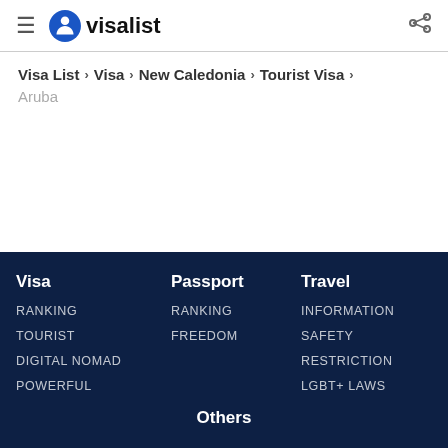visalist
Visa List > Visa > New Caledonia > Tourist Visa > Aruba
Visa: RANKING, TOURIST, DIGITAL NOMAD, POWERFUL | Passport: RANKING, FREEDOM | Travel: INFORMATION, SAFETY, RESTRICTION, LGBT+ LAWS | Others